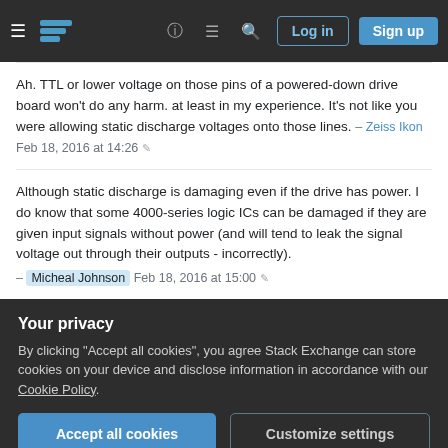Stack Exchange navigation bar with logo, help, chat, search, Log in, Sign up buttons
Ah. TTL or lower voltage on those pins of a powered-down drive board won't do any harm. at least in my experience. It's not like you were allowing static discharge voltages onto those lines. – Zeiss Ikon Feb 18, 2016 at 14:26 ✎
Although static discharge is damaging even if the drive has power. I do know that some 4000-series logic ICs can be damaged if they are given input signals without power (and will tend to leak the signal voltage out through their outputs - incorrectly). – Micheal Johnson Feb 18, 2016 at 15:00 ✎
Your privacy
By clicking "Accept all cookies", you agree Stack Exchange can store cookies on your device and disclose information in accordance with our Cookie Policy.